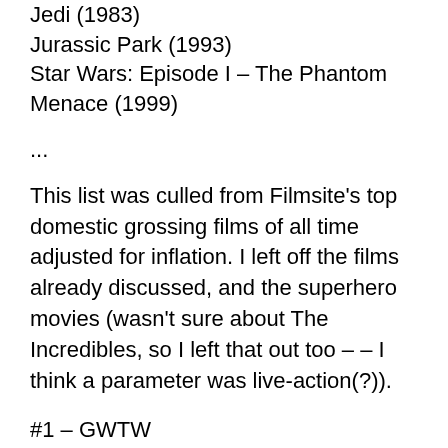Jedi (1983)
Jurassic Park (1993)
Star Wars: Episode I – The Phantom Menace (1999)
...
This list was culled from Filmsite's top domestic grossing films of all time adjusted for inflation. I left off the films already discussed, and the superhero movies (wasn't sure about The Incredibles, so I left that out too – – I think a parameter was live-action(?)).
#1 – GWTW
#7 – Jaws
(#14 – Ben-Hur (1959))
#75 – Superman (1978)